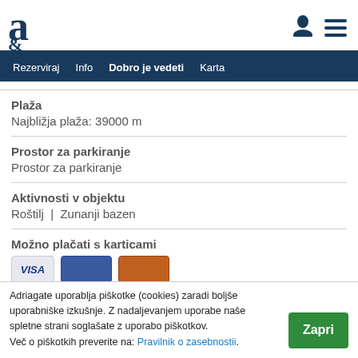a (logo) | user icon | menu icon
Rezerviraj | Info | Dobro je vedeti | Karta
Plaža
Najbližja plaža: 39000 m
Prostor za parkiranje
Prostor za parkiranje
Aktivnosti v objektu
Roštilj  |  Zunanji bazen
Možno plačati s karticami
[Figure (illustration): Payment card icons: Visa, Mastercard, and another card]
Adriagate uporablja piškotke (cookies) zaradi boljše uporabniške izkušnje. Z nadaljevanjem uporabe naše spletne strani soglašate z uporabo piškotkov. Več o piškotkih preverite na: Pravilnik o zasebnostii.
Zapri